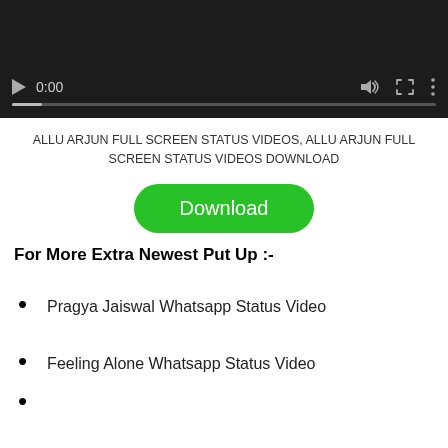[Figure (screenshot): Video player with dark background showing 0:00 timestamp, play button, volume icon, fullscreen icon, and three-dot menu icon, with a progress bar at the bottom.]
ALLU ARJUN FULL SCREEN STATUS VIDEOS, ALLU ARJUN FULL SCREEN STATUS VIDEOS DOWNLOAD
[Figure (other): Green rounded Download button]
For More Extra Newest Put Up :-
Pragya Jaiswal Whatsapp Status Video
Feeling Alone Whatsapp Status Video